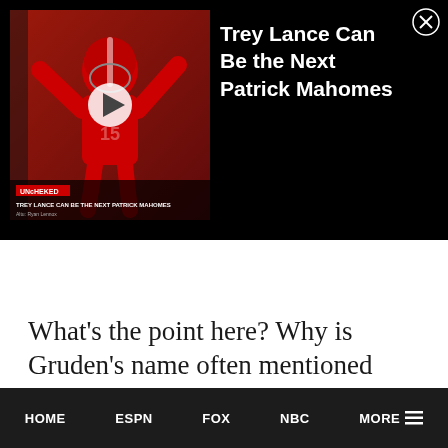[Figure (screenshot): Video thumbnail showing football player in red Kansas City Chiefs uniform with arms raised, overlaid with a play button. Lower bar shows 'Unchecked' label and title 'TREY LANCE CAN BE THE NEXT PATRICK MAHOMES'. Next to thumbnail is white text reading 'Trey Lance Can Be the Next Patrick Mahomes'. Close (X) button in top right corner.]
What's the point here? Why is Gruden's name often mentioned whenever there is a coaching
HOME   ESPN   FOX   NBC   MORE